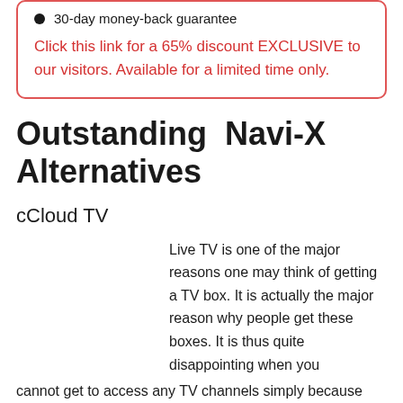30-day money-back guarantee
Click this link for a 65% discount EXCLUSIVE to our visitors. Available for a limited time only.
Outstanding Navi-X Alternatives
cCloud TV
Live TV is one of the major reasons one may think of getting a TV box. It is actually the major reason why people get these boxes. It is thus quite disappointing when you cannot get to access any TV channels simply because